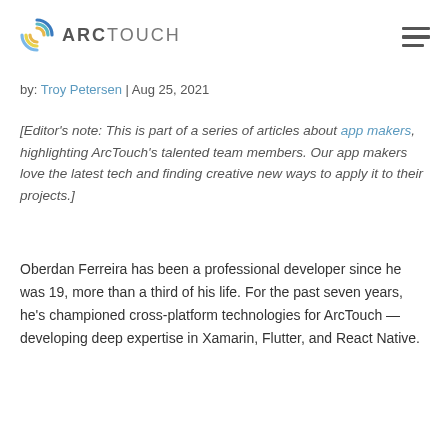ArcTouch
by: Troy Petersen | Aug 25, 2021
[Editor's note: This is part of a series of articles about app makers, highlighting ArcTouch's talented team members. Our app makers love the latest tech and finding creative new ways to apply it to their projects.]
Oberdan Ferreira has been a professional developer since he was 19, more than a third of his life. For the past seven years, he's championed cross-platform technologies for ArcTouch — developing deep expertise in Xamarin, Flutter, and React Native.